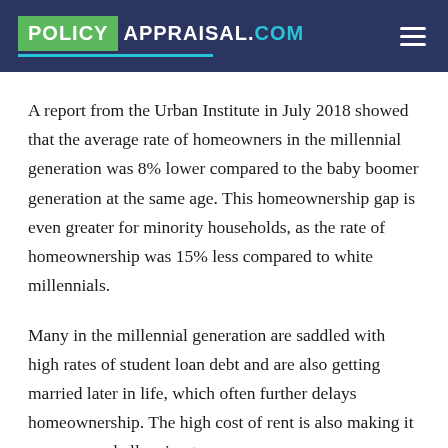POLICY APPRAISAL.com
A report from the Urban Institute in July 2018 showed that the average rate of homeowners in the millennial generation was 8% lower compared to the baby boomer generation at the same age. This homeownership gap is even greater for minority households, as the rate of homeownership was 15% less compared to white millennials.
Many in the millennial generation are saddled with high rates of student loan debt and are also getting married later in life, which often further delays homeownership. The high cost of rent is also making it even more challenging to save money.